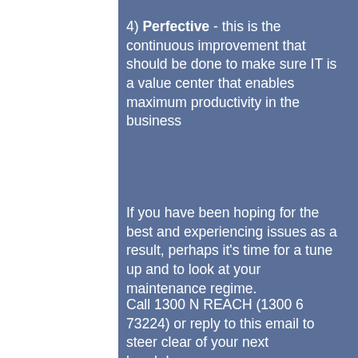4) Perfective - this is the continuous improvement that should be done to make sure IT is a value center that enables maximum productivity in the business
If you have been hoping for the best and experiencing issues as a result, perhaps it's time for a tune up and to look at your maintenance regime.
Call 1300 N REACH (1300 6 73224) or reply to this email to steer clear of your next breakdown.